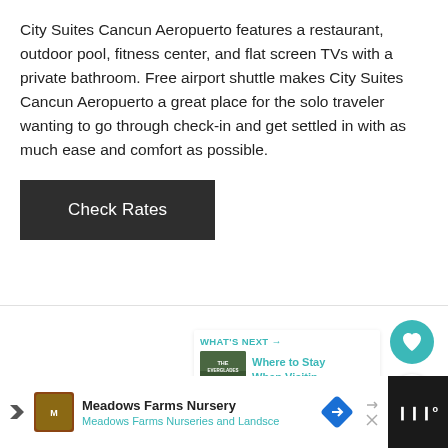City Suites Cancun Aeropuerto features a restaurant, outdoor pool, fitness center, and flat screen TVs with a private bathroom. Free airport shuttle makes City Suites Cancun Aeropuerto a great place for the solo traveler wanting to go through check-in and get settled in with as much ease and comfort as possible.
[Figure (other): Dark button labeled 'Check Rates']
[Figure (other): Teal circular heart/favorite button icon]
[Figure (other): White circular share button icon]
[Figure (other): WHAT'S NEXT card: thumbnail of Everglades and text 'Where to Stay When Visitin...']
Group Travel
[Figure (other): Advertisement bar: Meadows Farms Nursery / Meadows Farms Nurseries and Landsc...]